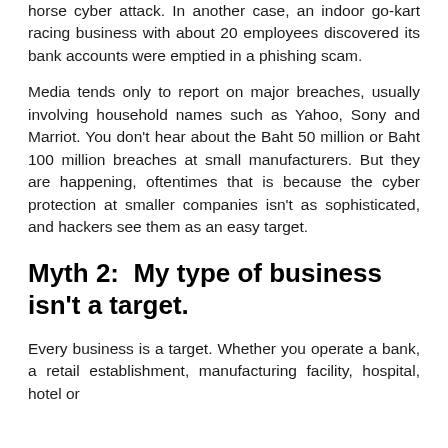horse cyber attack. In another case, an indoor go-kart racing business with about 20 employees discovered its bank accounts were emptied in a phishing scam.
Media tends only to report on major breaches, usually involving household names such as Yahoo, Sony and Marriot. You don't hear about the Baht 50 million or Baht 100 million breaches at small manufacturers. But they are happening, oftentimes that is because the cyber protection at smaller companies isn't as sophisticated, and hackers see them as an easy target.
Myth 2: My type of business isn't a target.
Every business is a target. Whether you operate a bank, a retail establishment, manufacturing facility, hospital, hotel or